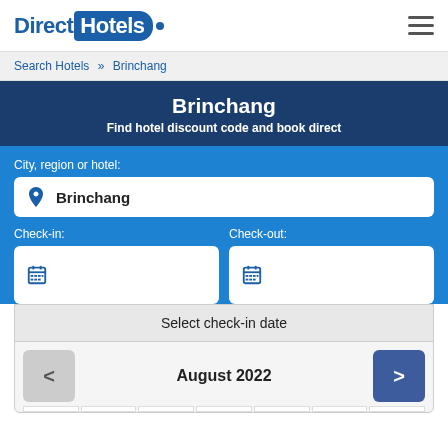Direct Hotels
Search Hotels » Brinchang
Brinchang
Find hotel discount code and book direct
City, region or hotel:
Brinchang
Check-in:
Check-out:
Select check-in date
August 2022